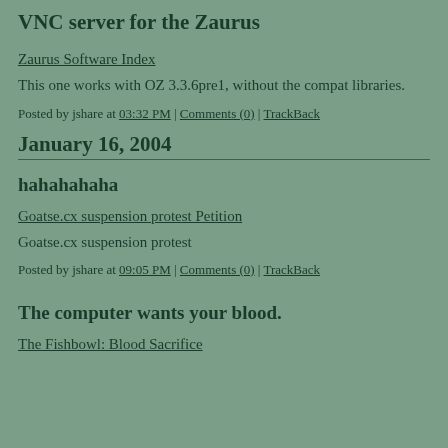VNC server for the Zaurus
Zaurus Software Index
This one works with OZ 3.3.6pre1, without the compat libraries.
Posted by jshare at 03:32 PM | Comments (0) | TrackBack
January 16, 2004
hahahahaha
Goatse.cx suspension protest Petition
Goatse.cx suspension protest
Posted by jshare at 09:05 PM | Comments (0) | TrackBack
The computer wants your blood.
The Fishbowl: Blood Sacrifice